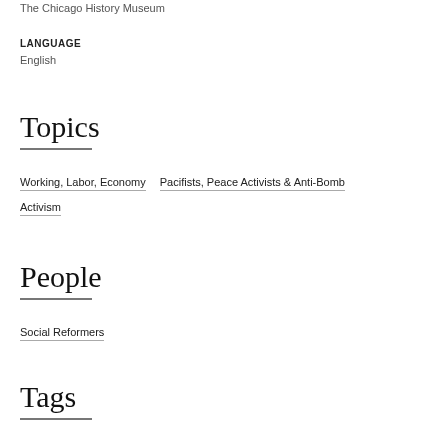The Chicago History Museum
LANGUAGE
English
Topics
Working, Labor, Economy
Pacifists, Peace Activists & Anti-Bomb
Activism
People
Social Reformers
Tags